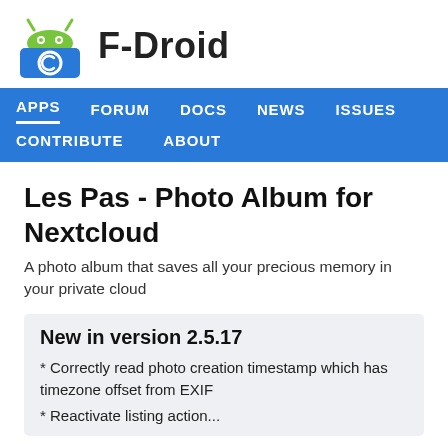[Figure (logo): F-Droid logo: green Android robot head above a blue square with a white circular copyleft icon]
F-Droid
APPS  FORUM  DOCS  NEWS  ISSUES  CONTRIBUTE  ABOUT
Les Pas - Photo Album for Nextcloud
A photo album that saves all your precious memory in your private cloud
New in version 2.5.17
* Correctly read photo creation timestamp which has timezone offset from EXIF
* Reactivate listing action...